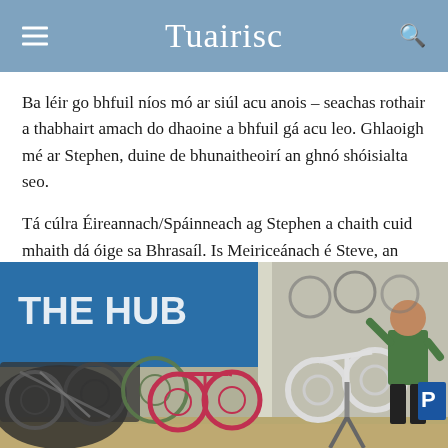Tuairisc
Ba léir go bhfuil níos mó ar siúl acu anois – seachas rothair a thabhairt amach do dhaoine a bhfuil gá acu leo. Ghlaoigh mé ar Stephen, duine de bhunaitheoirí an ghnó shóisialta seo.
Tá cúlra Éireannach/Spáinneach ag Stephen a chaith cuid mhaith dá óige sa Bhrasaíl. Is Meiriceánach é Steve, an fear eile a bhunaigh an gnó leis.
[Figure (photo): Indoor bicycle shop with many bicycles on display; a person in a green shirt works on a mountain bike mounted on a repair stand. A blue sign reading 'THE BIKE HUB' is visible in the background.]